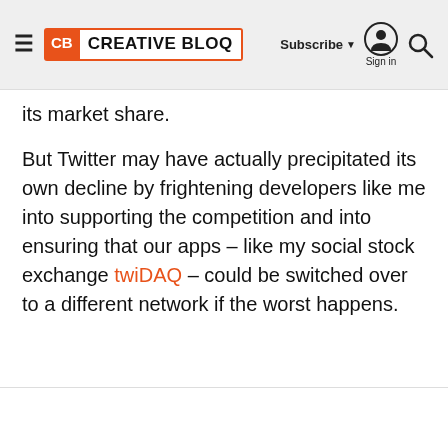CB CREATIVE BLOQ | Subscribe | Sign in | Search
its market share.
But Twitter may have actually precipitated its own decline by frightening developers like me into supporting the competition and into ensuring that our apps – like my social stock exchange twiDAQ – could be switched over to a different network if the worst happens.